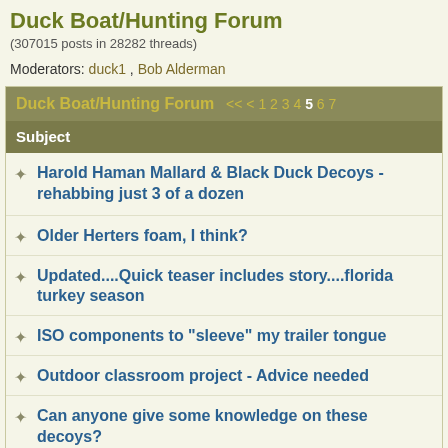Duck Boat/Hunting Forum
(307015 posts in 28282 threads)
Moderators: [moderator names]
Duck Boat/Hunting Forum << < 1 2 3 4 5 6 7
| Subject |
| --- |
| Harold Haman Mallard & Black Duck Decoys - rehabbing just 3 of a dozen |
| Older Herters foam, I think? |
| Updated....Quick teaser includes story....florida turkey season |
| ISO components to "sleeve" my trailer tongue |
| Outdoor classroom project - Advice needed |
| Can anyone give some knowledge on these decoys? |